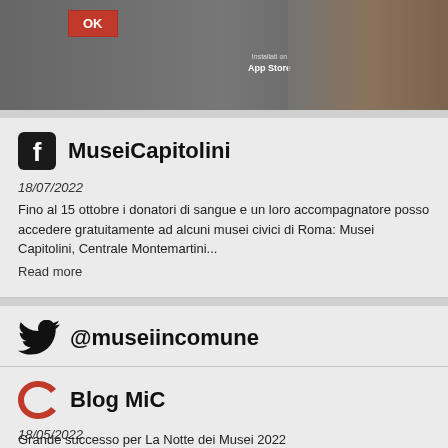[Figure (screenshot): Top grey banner with OK button and App Store text overlay]
MuseiCapitolini
18/07/2022
Fino al 15 ottobre i donatori di sangue e un loro accompagnatore posso accedere gratuitamente ad alcuni musei civici di Roma: Musei Capitolini, Centrale Montemartini...
Read more
@museiincomune
31/08/2022
Proseguono anche a settembre gli appuntamenti dedicati alle persone con 65 o più anni residenti nel I Municipio di...
Read more
Blog MiC
18/05/2022
Grande successo per La Notte dei Musei 2022
Sabato 14 maggio si è tenuta la dodicesima edizione della&#160;Notte dei